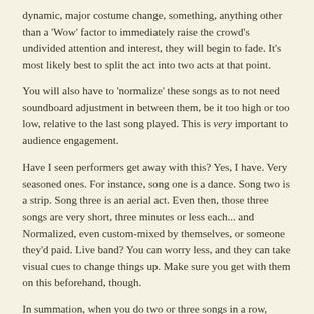dynamic, major costume change, something, anything other than a 'Wow' factor to immediately raise the crowd's undivided attention and interest, they will begin to fade. It's most likely best to split the act into two acts at that point.
You will also have to 'normalize' these songs as to not need soundboard adjustment in between them, be it too high or too low, relative to the last song played. This is very important to audience engagement.
Have I seen performers get away with this? Yes, I have. Very seasoned ones. For instance, song one is a dance. Song two is a strip. Song three is an aerial act. Even then, those three songs are very short, three minutes or less each... and Normalized, even custom-mixed by themselves, or someone they'd paid. Live band? You can worry less, and they can take visual cues to change things up. Make sure you get with them on this beforehand, though.
In summation, when you do two or three songs in a row, remember, it's far more common for it to be distracting and